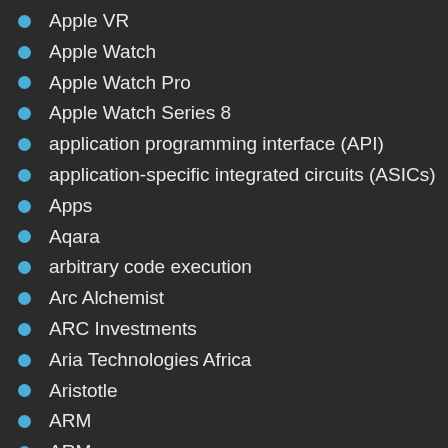Apple VR
Apple Watch
Apple Watch Pro
Apple Watch Series 8
application programming interface (API)
application-specific integrated circuits (ASICs)
Apps
Aqara
arbitrary code execution
Arc Alchemist
ARC Investments
Aria Technologies Africa
Aristotle
ARM
ARM processors